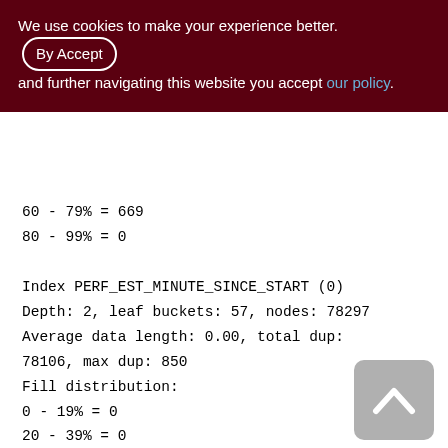We use cookies to make your experience better. By accepting and further navigating this website you accept our policy.
60 - 79% = 669
80 - 99% = 0

Index PERF_EST_MINUTE_SINCE_START (0)
Depth: 2, leaf buckets: 57, nodes: 78297
Average data length: 0.00, total dup:
78106, max dup: 850
Fill distribution:
0 - 19% = 0
20 - 39% = 0
40 - 59% = 27
60 - 79% = 13